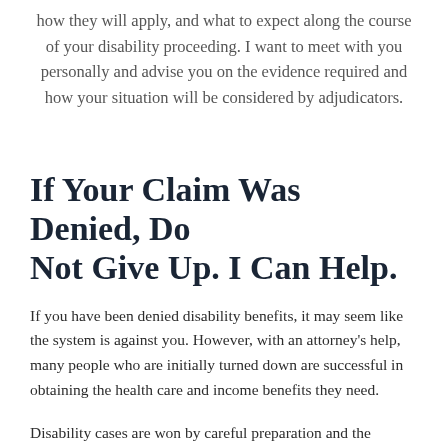how they will apply, and what to expect along the course of your disability proceeding. I want to meet with you personally and advise you on the evidence required and how your situation will be considered by adjudicators.
If Your Claim Was Denied, Do Not Give Up. I Can Help.
If you have been denied disability benefits, it may seem like the system is against you. However, with an attorney's help, many people who are initially turned down are successful in obtaining the health care and income benefits they need.
Disability cases are won by careful preparation and the application of the law based upon the specific facts of